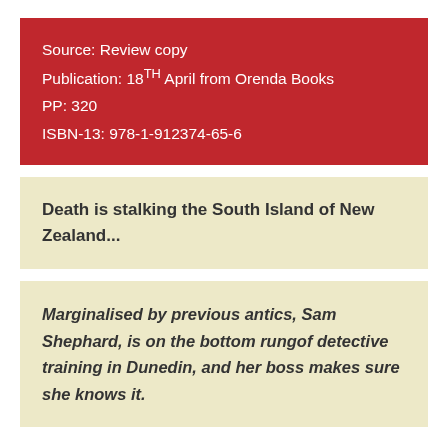Source: Review copy
Publication: 18TH April from Orenda Books
PP: 320
ISBN-13: 978-1-912374-65-6
Death is stalking the South Island of New Zealand...
Marginalised by previous antics, Sam Shephard, is on the bottom rungof detective training in Dunedin, and her boss makes sure she knows it.